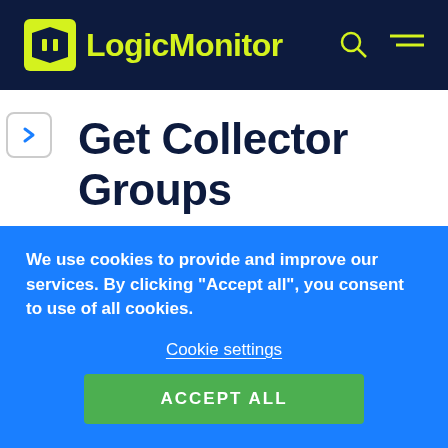LogicMonitor
Get Collector Groups
Overview
You can use LogicMonitor's REST API to
We use cookies to provide and improve our services. By clicking "Accept all", you consent to use of all cookies.
Cookie settings
ACCEPT ALL